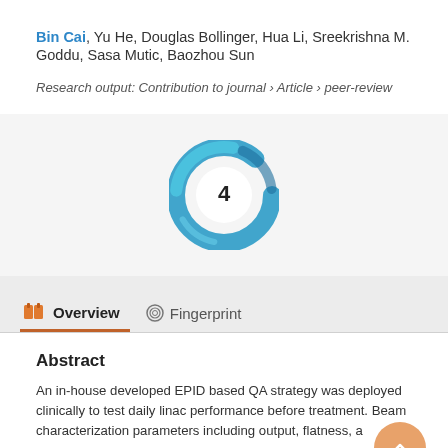Bin Cai, Yu He, Douglas Bollinger, Hua Li, Sreekrishna M. Goddu, Sasa Mutic, Baozhou Sun
Research output: Contribution to journal › Article › peer-review
[Figure (other): Altmetric donut badge showing score of 4, rendered as a blue swirling ring around a white circle with '4' in the center]
Overview   Fingerprint
Abstract
An in-house developed EPID based QA strategy was deployed clinically to test daily linac performance before treatment. Beam characterization parameters including output, flatness, a